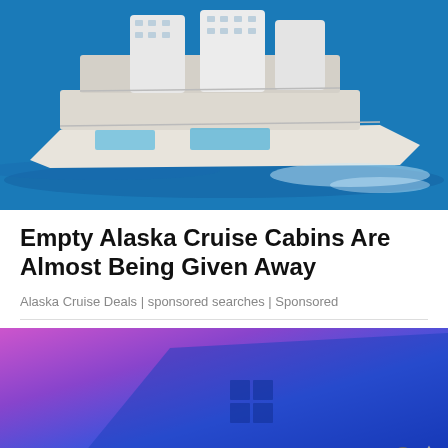[Figure (photo): Aerial view of a large cruise ship on blue water, showing the top deck with pools and amenities]
Empty Alaska Cruise Cabins Are Almost Being Given Away
Alaska Cruise Deals | sponsored searches | Sponsored
[Figure (photo): Close-up of a blue Microsoft Surface laptop lid showing the Windows logo]
[Figure (photo): NFL Shop advertisement banner with red cup/mug product image, showing 'Free shipping on orders over $25' and 'www.nflshop.com']